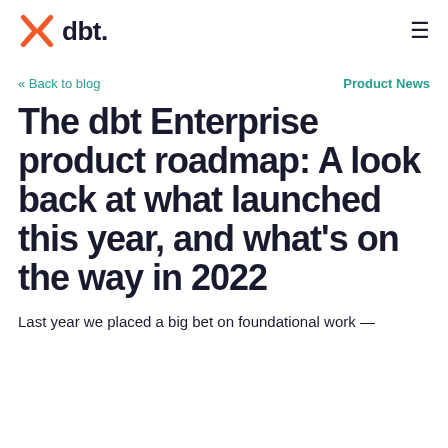dbt logo and navigation menu
« Back to blog
Product News
The dbt Enterprise product roadmap: A look back at what launched this year, and what's on the way in 2022
Last year we placed a big bet on foundational work —